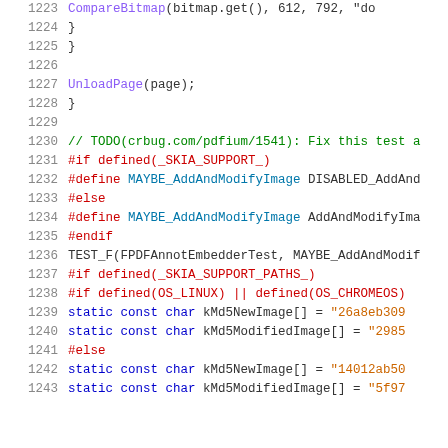[Figure (screenshot): Source code snippet showing C++ code lines 1223-1243 with syntax highlighting. Lines include CompareBitmap call, closing braces, UnloadPage call, TODO comment, preprocessor directives (#if, #define, #else, #endif), TEST_F macro, and static const char array declarations for MD5 hash strings.]